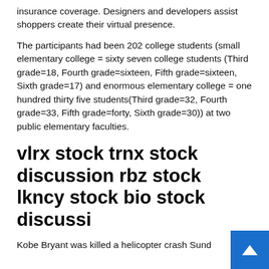insurance coverage. Designers and developers assist shoppers create their virtual presence.
The participants had been 202 college students (small elementary college = sixty seven college students (Third grade=18, Fourth grade=sixteen, Fifth grade=sixteen, Sixth grade=17) and enormous elementary college = one hundred thirty five students(Third grade=32, Fourth grade=33, Fifth grade=forty, Sixth grade=30)) at two public elementary faculties.
vlrx stock trnx stock discussion rbz stock lkncy stock bio stock discussi
Kobe Bryant was killed a helicopter crash Sunday